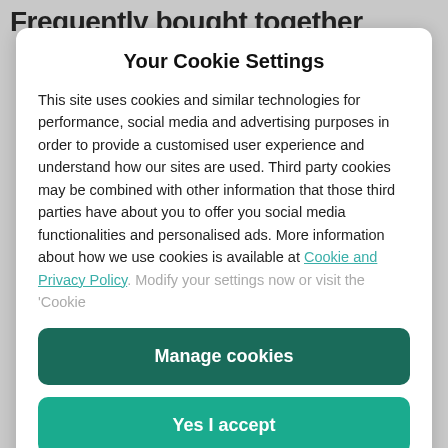Frequently bought together
Your Cookie Settings
This site uses cookies and similar technologies for performance, social media and advertising purposes in order to provide a customised user experience and understand how our sites are used. Third party cookies may be combined with other information that those third parties have about you to offer you social media functionalities and personalised ads. More information about how we use cookies is available at Cookie and Privacy Policy. Modify your settings now or visit the ‘Cookie
Manage cookies
Yes I accept